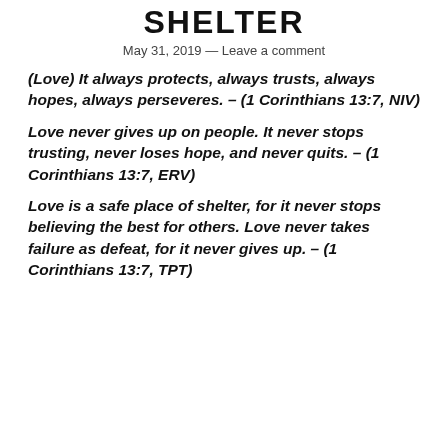SHELTER
May 31, 2019 — Leave a comment
(Love) It always protects, always trusts, always hopes, always perseveres. – (1 Corinthians 13:7, NIV)
Love never gives up on people. It never stops trusting, never loses hope, and never quits. – (1 Corinthians 13:7, ERV)
Love is a safe place of shelter, for it never stops believing the best for others. Love never takes failure as defeat, for it never gives up. – (1 Corinthians 13:7, TPT)